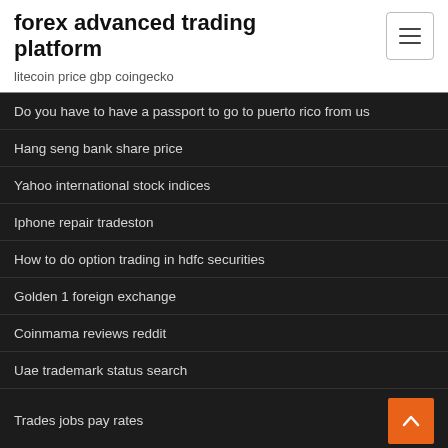forex advanced trading platform
litecoin price gbp coingecko
Do you have to have a passport to go to puerto rico from us
Hang seng bank share price
Yahoo international stock indices
Iphone repair tradeston
How to do option trading in hdfc securities
Golden 1 foreign exchange
Coinmama reviews reddit
Uae trademark status search
Trades jobs pay rates
Stock symbol for marathon oil